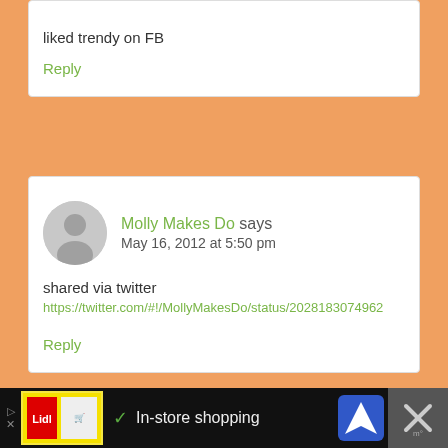liked trendy on FB
Reply
Molly Makes Do says
May 16, 2012 at 5:50 pm
shared via twitter
https://twitter.com/#!/MollyMakesDo/status/2028183074962
Reply
[Figure (screenshot): Advertisement bar at bottom with Lidl logo, checkmark, 'In-store shopping' text, navigation arrow icon, and close button]